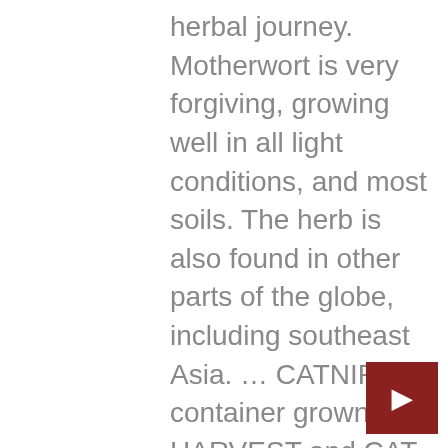herbal journey. Motherwort is very forgiving, growing well in all light conditions, and most soils. The herb is also found in other parts of the globe, including southeast Asia. … CATNIP container grown HARVEST and CAT Reactions how to grow … When grown in masses or used as a bedding plant, individual plants should be spaced approximately 12 inches apart. Skullcap has double-colored flowers that are blue and light purple. Plant divisions or basal cuttings can also be taken in late spring or early summer, grow the cuttings on in pots until they are rooting well. Native, low water use; drought and heat tolerant; showy blooms; attracts